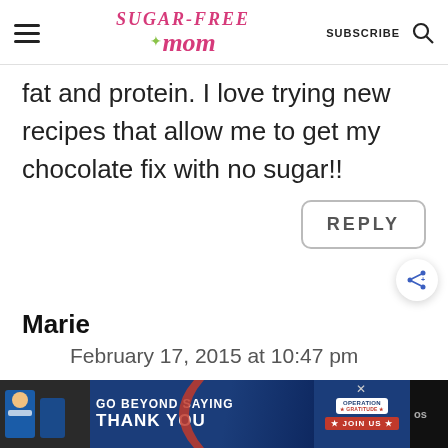Sugar-Free Mom | SUBSCRIBE
fat and protein. I love trying new recipes that allow me to get my chocolate fix with no sugar!!
REPLY
Marie
February 17, 2015 at 10:47 pm
[Figure (screenshot): Advertisement banner: GO BEYOND SAYING THANK YOU - Operation Gratitude JOIN US]